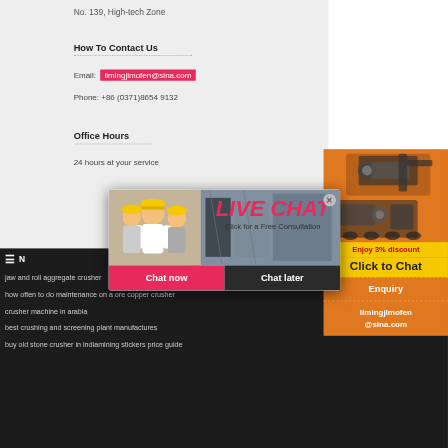No. 139, High-tech Zone
How To Contact Us
Email: limingjlmofen@sina.com
Phone: +86 (0371)8654 9132
Office Hours
24 hours at your service
[Figure (photo): Live chat popup with workers in yellow hard hats, LIVE CHAT heading in red italic, subtitle 'Click for a Free Consultation', Chat now (red) and Chat later (dark) buttons]
[Figure (photo): Orange right sidebar showing mining/crushing machinery images, Enjoy 3% discount yellow banner, Click to Chat button, Enquiry section, limingjlmofen@sina.com contact]
jaw and roll aggregate crusher
how often to do maintenance on a ore copper crusher
crusher machine in arabia
best crushing and screening plant manufactures
buy old stone crusher in indiamining stickers price guide